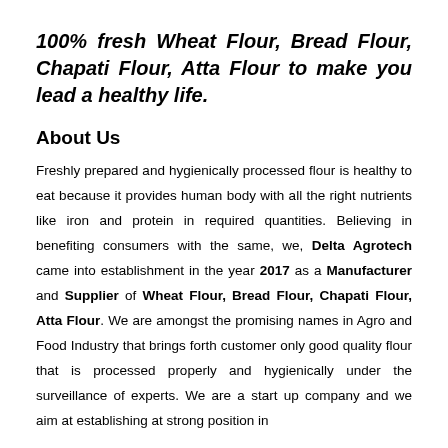100% fresh Wheat Flour, Bread Flour, Chapati Flour, Atta Flour to make you lead a healthy life.
About Us
Freshly prepared and hygienically processed flour is healthy to eat because it provides human body with all the right nutrients like iron and protein in required quantities. Believing in benefiting consumers with the same, we, Delta Agrotech came into establishment in the year 2017 as a Manufacturer and Supplier of Wheat Flour, Bread Flour, Chapati Flour, Atta Flour. We are amongst the promising names in Agro and Food Industry that brings forth customer only good quality flour that is processed properly and hygienically under the surveillance of experts. We are a start up company and we aim at establishing at strong position in